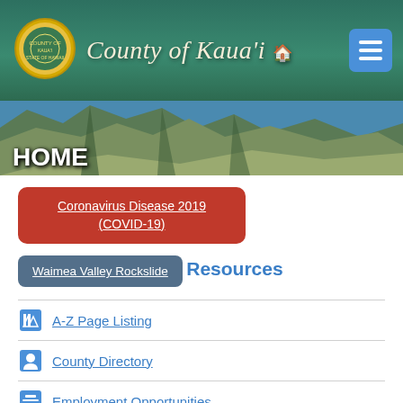[Figure (screenshot): County of Kaua'i website header with teal/green background, circular county seal logo, italic serif title text, home icon, and blue menu button]
[Figure (photo): Aerial photo of Napali Coast cliffs and ocean, green valleys, used as banner background with 'HOME' text overlay]
HOME
Coronavirus Disease 2019 (COVID-19)
Waimea Valley Rockslide
Resources
A-Z Page Listing
County Directory
Employment Opportunities